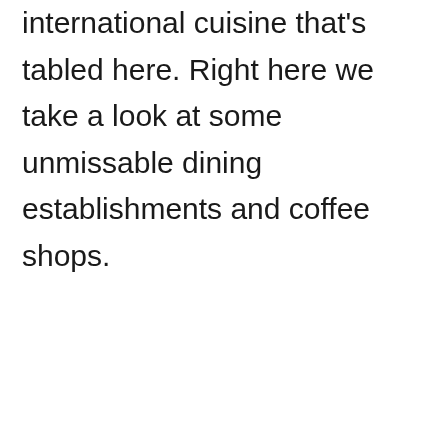international cuisine that's tabled here. Right here we take a look at some unmissable dining establishments and coffee shops.